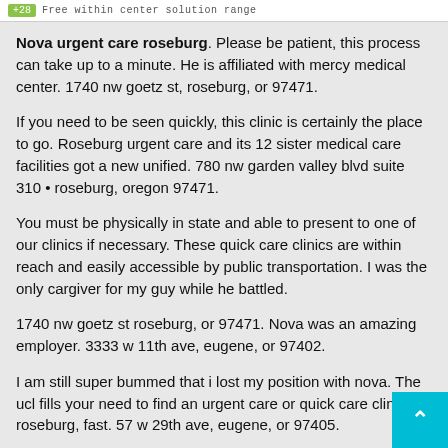Free within center solution range
Nova urgent care roseburg. Please be patient, this process can take up to a minute. He is affiliated with mercy medical center. 1740 nw goetz st, roseburg, or 97471.
If you need to be seen quickly, this clinic is certainly the place to go. Roseburg urgent care and its 12 sister medical care facilities got a new unified. 780 nw garden valley blvd suite 310 • roseburg, oregon 97471.
You must be physically in state and able to present to one of our clinics if necessary. These quick care clinics are within reach and easily accessible by public transportation. I was the only cargiver for my guy while he battled.
1740 nw goetz st roseburg, or 97471. Nova was an amazing employer. 3333 w 11th ave, eugene, or 97402.
I am still super bummed that i lost my position with nova. The ucl fills your need to find an urgent care or quick care clinic in roseburg, fast. 57 w 29th ave, eugene, or 97405.